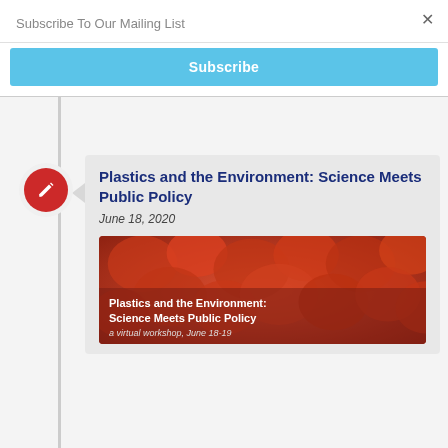Subscribe To Our Mailing List
Subscribe
plastic bag ban.
Plastics and the Environment: Science Meets Public Policy
June 18, 2020
[Figure (screenshot): Workshop image showing red/orange plastic bags with overlay text: 'Plastics and the Environment: Science Meets Public Policy — a virtual workshop, June 18-19']